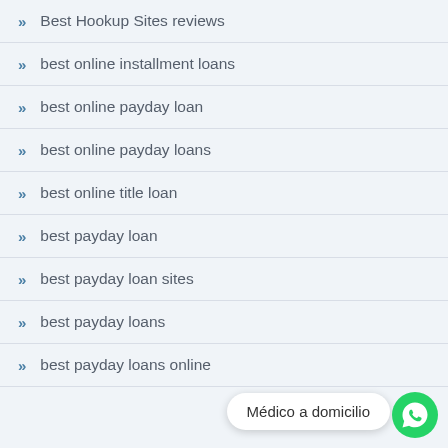Best Hookup Sites reviews
best online installment loans
best online payday loan
best online payday loans
best online title loan
best payday loan
best payday loan sites
best payday loans
best payday loans online
[Figure (other): WhatsApp chat bubble overlay with text 'Médico a domicilio' and green WhatsApp icon button]